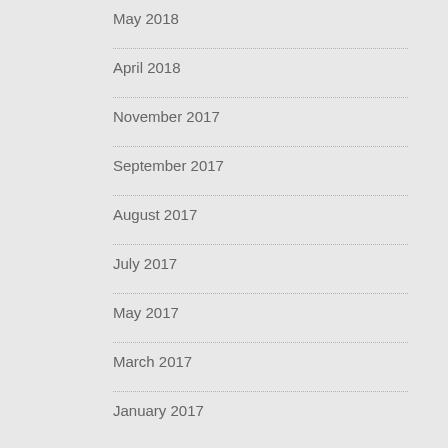May 2018
April 2018
November 2017
September 2017
August 2017
July 2017
May 2017
March 2017
January 2017